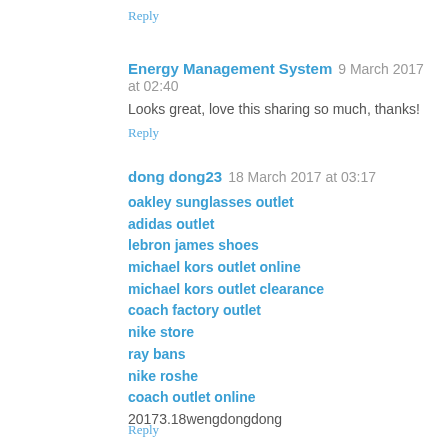Reply
Energy Management System  9 March 2017 at 02:40
Looks great, love this sharing so much, thanks!
Reply
dong dong23  18 March 2017 at 03:17
oakley sunglasses outlet
adidas outlet
lebron james shoes
michael kors outlet online
michael kors outlet clearance
coach factory outlet
nike store
ray bans
nike roshe
coach outlet online
20173.18wengdongdong
Reply